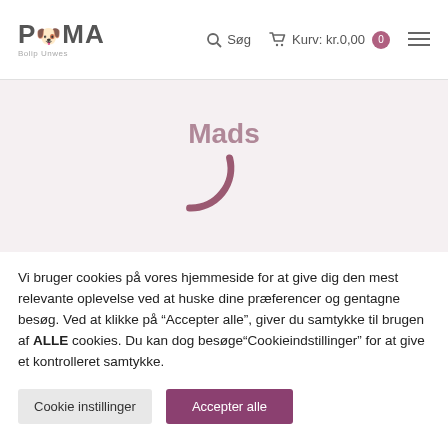PYMA Bolip Unwes  Søg  Kurv: kr.0,00  ☰
Mads
Vi bruger cookies på vores hjemmeside for at give dig den mest relevante oplevelse ved at huske dine præferencer og gentagne besøg. Ved at klikke på "Accepter alle", giver du samtykke til brugen af ALLE cookies. Du kan dog besøge"Cookieindstillinger" for at give et kontrolleret samtykke.
Cookie instillinger
Accepter alle